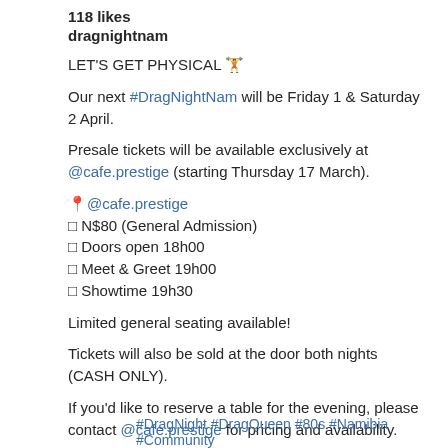118 likes
dragnightnam
LET'S GET PHYSICAL 🏋️
Our next #DragNightNam will be Friday 1 & Saturday 2 April.
Presale tickets will be available exclusively at @cafe.prestige (starting Thursday 17 March).
📍@cafe.prestige
🎟 N$80 (General Admission)
🚪 Doors open 18h00
🤝 Meet & Greet 19h00
🎭 Showtime 19h30
Limited general seating available!
Tickets will also be sold at the door both nights (CASH ONLY).
If you'd like to reserve a table for the evening, please contact @cafe.prestige for pricing and availability.
#DragNight #DragQueen #80s #Namibia #Community